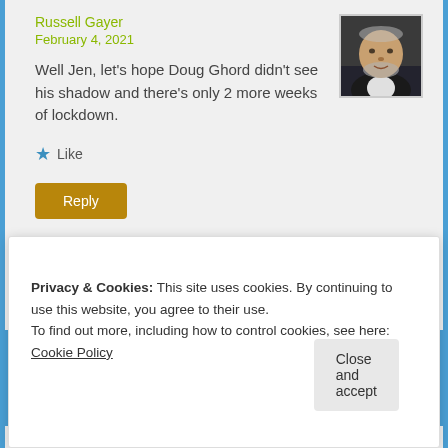Russell Gayer
February 4, 2021
[Figure (photo): Profile photo of Russell Gayer, a man in a dark jacket]
Well Jen, let's hope Doug Ghord didn't see his shadow and there's only 2 more weeks of lockdown.
Like
Reply
Privacy & Cookies: This site uses cookies. By continuing to use this website, you agree to their use.
To find out more, including how to control cookies, see here: Cookie Policy
Close and accept
for more of it. You can also reblog this post as I've